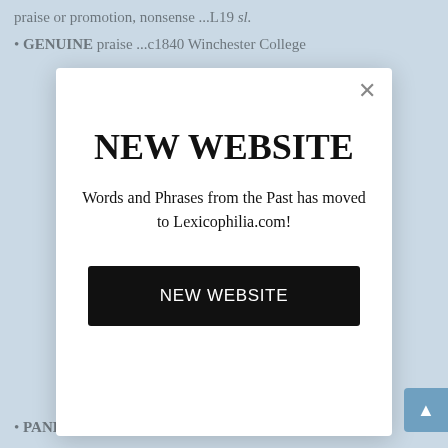praise or promotion, nonsense ...L19 sl.
GENUINE praise ...c1840 Winchester College
NEW WEBSITE
Words and Phrases from the Past has moved to Lexicophilia.com!
NEW WEBSITE
PANEOLOGISM universal or indiscriminate praise ...a1864